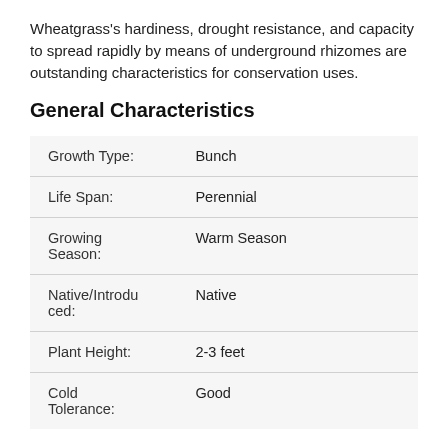Wheatgrass's hardiness, drought resistance, and capacity to spread rapidly by means of underground rhizomes are outstanding characteristics for conservation uses.
General Characteristics
| Property | Value |
| --- | --- |
| Growth Type: | Bunch |
| Life Span: | Perennial |
| Growing Season: | Warm Season |
| Native/Introduced: | Native |
| Plant Height: | 2-3 feet |
| Cold Tolerance: | Good |